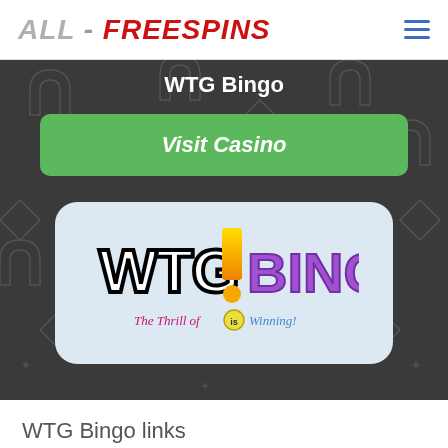[Figure (logo): ALL-FREESPINS website logo in header, with hamburger menu icon]
WTG Bingo
Visit Casino
[Figure (logo): WTG Bingo logo with exclamation mark and tagline 'The Thrill of Winning!']
WTG Bingo links